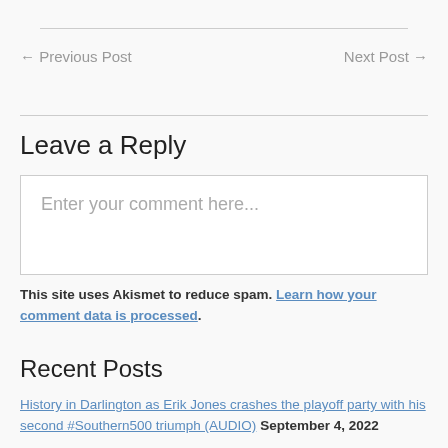← Previous Post     Next Post →
Leave a Reply
Enter your comment here...
This site uses Akismet to reduce spam. Learn how your comment data is processed.
Recent Posts
History in Darlington as Erik Jones crashes the playoff party with his second #Southern500 triumph (AUDIO) September 4, 2022